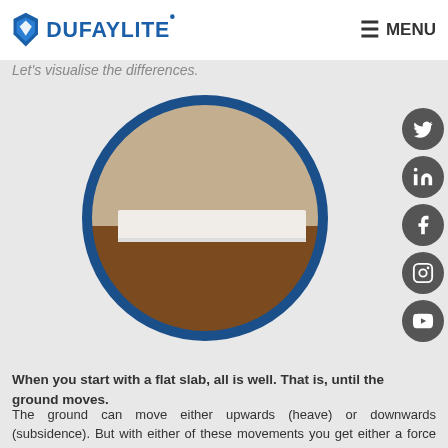DUFAYLITE | MENU
Let's visualise the differences.
[Figure (illustration): Cross-section diagram inside a circle showing a flat concrete slab (white rectangle) sitting on light sand/soil above dark brown earth, representing ground layers beneath a slab.]
When you start with a flat slab, all is well. That is, until the ground moves.
The ground can move either upwards (heave) or downwards (subsidence). But with either of these movements you get either a force pushing up against the slab, or you get a hollow where the slab is no longer supported.